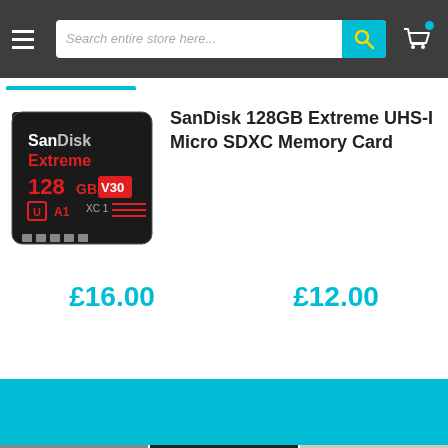[Figure (screenshot): Navigation bar with hamburger menu, search box saying 'Search entire store here...', teal search button with magnifying glass icon, and shopping cart icon with teal badge]
SanDisk 128GB Extreme UHS-I Micro SDXC Memory Card
[Figure (photo): SanDisk Extreme 128GB microSD card — black card with red SanDisk Extreme branding, showing 128GB, V30, XC1, UHS-I, A1 ratings]
£16.00
£12.00
[Figure (photo): Teal/cyan background section followed by three side-by-side photographs of Cameraworld retail store fronts]
cameraworld store photos